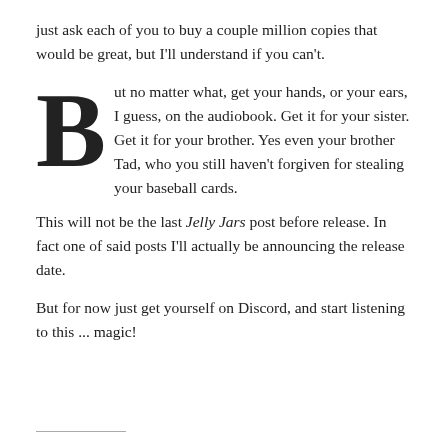just ask each of you to buy a couple million copies that would be great, but I'll understand if you can't.
But no matter what, get your hands, or your ears, I guess, on the audiobook. Get it for your sister. Get it for your brother. Yes even your brother Tad, who you still haven't forgiven for stealing your baseball cards.
This will not be the last Jelly Jars post before release. In fact one of said posts I'll actually be announcing the release date.
But for now just get yourself on Discord, and start listening to this ... magic!